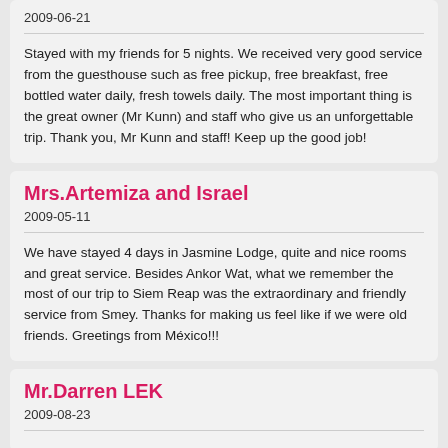2009-06-21
Stayed with my friends for 5 nights. We received very good service from the guesthouse such as free pickup, free breakfast, free bottled water daily, fresh towels daily. The most important thing is the great owner (Mr Kunn) and staff who give us an unforgettable trip. Thank you, Mr Kunn and staff! Keep up the good job!
Mrs.Artemiza and Israel
2009-05-11
We have stayed 4 days in Jasmine Lodge, quite and nice rooms and great service. Besides Ankor Wat, what we remember the most of our trip to Siem Reap was the extraordinary and friendly service from Smey. Thanks for making us feel like if we were old friends. Greetings from México!!!
Mr.Darren LEK
2009-08-23